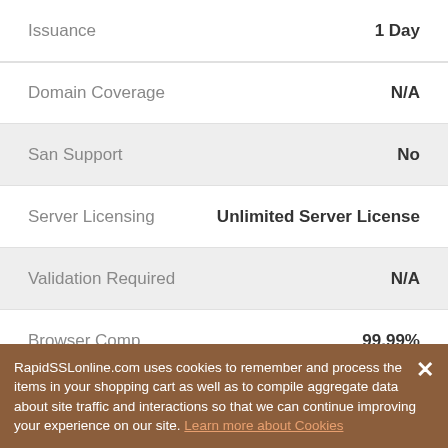| Feature | Value |
| --- | --- |
| Issuance | 1 Day |
| Domain Coverage | N/A |
| San Support | No |
| Server Licensing | Unlimited Server License |
| Validation Required | N/A |
| Browser Comp. | 99.99% |
| Reissue | Unlimited Reissues |
RapidSSLonline.com uses cookies to remember and process the items in your shopping cart as well as to compile aggregate data about site traffic and interactions so that we can continue improving your experience on our site. Learn more about Cookies